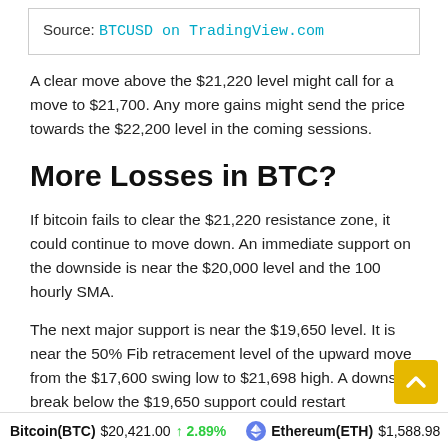Source: BTCUSD on TradingView.com
A clear move above the $21,220 level might call for a move to $21,700. Any more gains might send the price towards the $22,200 level in the coming sessions.
More Losses in BTC?
If bitcoin fails to clear the $21,220 resistance zone, it could continue to move down. An immediate support on the downside is near the $20,000 level and the 100 hourly SMA.
The next major support is near the $19,650 level. It is near the 50% Fib retracement level of the upward move from the $17,600 swing low to $21,698 high. A downside break below the $19,650 support could restart downtrend in the near term.
Bitcoin(BTC) $20,421.00 ↑ 2.89%    Ethereum(ETH) $1,588.98